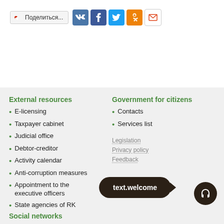[Figure (screenshot): Share button with Поделиться... label and social media icons: VK, Facebook, Twitter, Odnoklassniki, Mail]
External resources
E-licensing
Taxpayer cabinet
Judicial office
Debtor-creditor
Activity calendar
Anti-corruption measures
Appointment to the executive officers
State agencies of RK
Government for citizens
Contacts
Services list
Legislation
Privacy policy
Feedback
Social networks